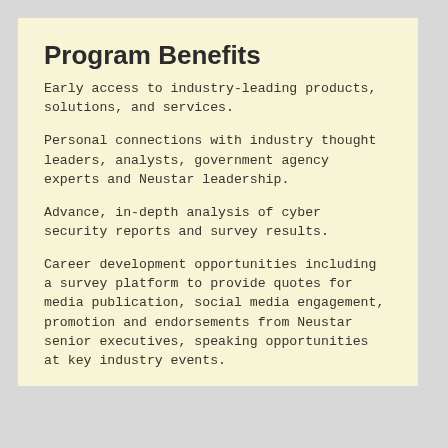Program Benefits
Early access to industry-leading products, solutions, and services.
Personal connections with industry thought leaders, analysts, government agency experts and Neustar leadership.
Advance, in-depth analysis of cyber security reports and survey results.
Career development opportunities including a survey platform to provide quotes for media publication, social media engagement, promotion and endorsements from Neustar senior executives, speaking opportunities at key industry events.